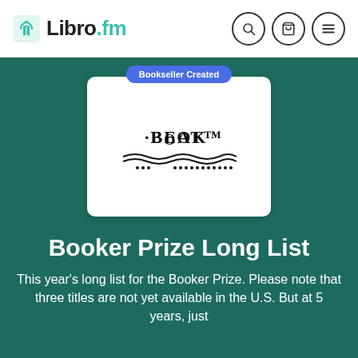[Figure (logo): Libro.fm logo with teal book/wifi icon and text 'Libro.fm' where '.fm' is teal colored, alongside search, cart, and hamburger menu icons]
[Figure (logo): Book Beat bookseller logo on white card with 'Bookseller Created' badge in blue]
Booker Prize Long List
This year's long list for the Booker Prize. Please note that three titles are not yet available in the U.S. But at 5 years, just...